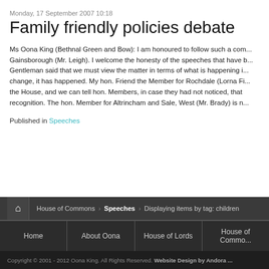Monday, 17 September 2007 10:18
Family friendly policies debate
Ms Oona King (Bethnal Green and Bow): I am honoured to follow such a com... Gainsborough (Mr. Leigh). I welcome the honesty of the speeches that have b... Gentleman said that we must view the matter in terms of what is happening i... change, it has happened. My hon. Friend the Member for Rochdale (Lorna Fi... the House, and we can tell hon. Members, in case they had not noticed, that recognition. The hon. Member for Altrincam and Sale, West (Mr. Brady) is n...
Published in Speeches
House of Commons > Speeches > Displaying items by tag: children
Home  About Oona  House of Lords  House of Commons
Copyright © 2001 - 2012 Oona King. All Rights Reserved. Website Design by Andora...